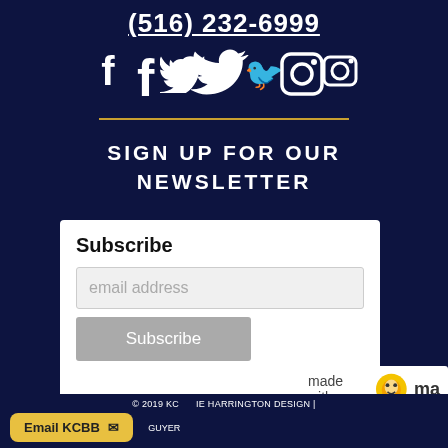(516) 232-6999
[Figure (illustration): Three white social media icons: Facebook (f), Twitter (bird), Instagram (camera) on dark navy background]
SIGN UP FOR OUR NEWSLETTER
Subscribe
email address
Subscribe
made with ma
© 2019 KC  IE HARRINGTON DESIGN |  GUYER
Email KCBB